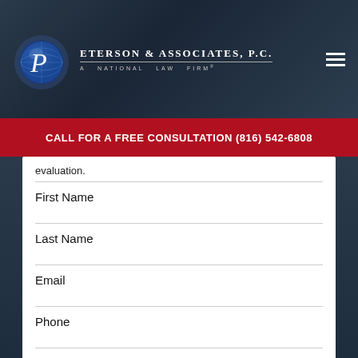[Figure (logo): Peterson & Associates P.C. law firm logo with globe and stylized P, dark blue header background with hamburger menu icon]
CALL FOR A FREE CONSULTATION (816) 542-6808
evaluation.
First Name
Last Name
Email
Phone
Are you a new client?